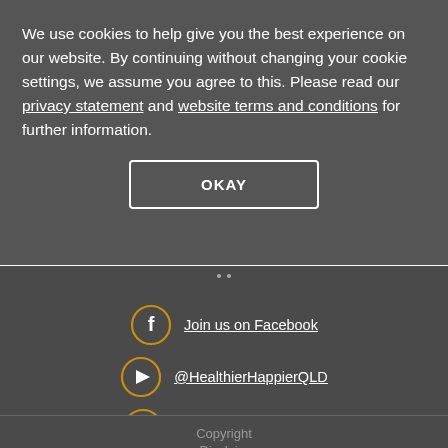We use cookies to help give you the best experience on our website. By continuing without changing your cookie settings, we assume you agree to this. Please read our privacy statement and website terms and conditions for further information.
OKAY
Join us on Facebook
@HealthierHappierQLD
Follow us on Instagram
Copyright
Disclaim...